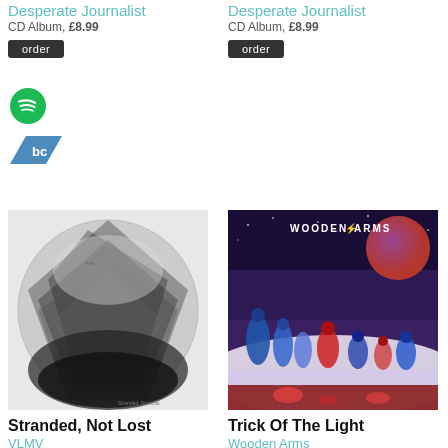Desperate Journalist
CD Album, £8.99
order
Desperate Journalist
CD Album, £8.99
order
[Figure (logo): Spotify logo - green circle with sound waves]
[Figure (logo): Bandcamp logo - blue/teal parallelogram with bc text]
[Figure (photo): Black and white album cover for Stranded, Not Lost by VLMV - circular photographic image with dark triangular textures]
Stranded, Not Lost
VLMV
CD Album, £8.99
order
[Figure (illustration): Colourful album cover for Trick Of The Light by Wooden Arms - fantasy scene with figures in blue, red and purple with a large moon]
Trick Of The Light
Wooden Arms
CD Album, £8.99
order